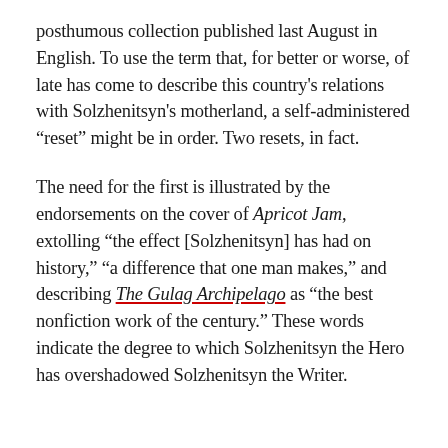posthumous collection published last August in English. To use the term that, for better or worse, of late has come to describe this country's relations with Solzhenitsyn's motherland, a self-administered “reset” might be in order. Two resets, in fact.
The need for the first is illustrated by the endorsements on the cover of Apricot Jam, extolling “the effect [Solzhenitsyn] has had on history,” “a difference that one man makes,” and describing The Gulag Archipelago as “the best nonfiction work of the century.” These words indicate the degree to which Solzhenitsyn the Hero has overshadowed Solzhenitsyn the Writer.